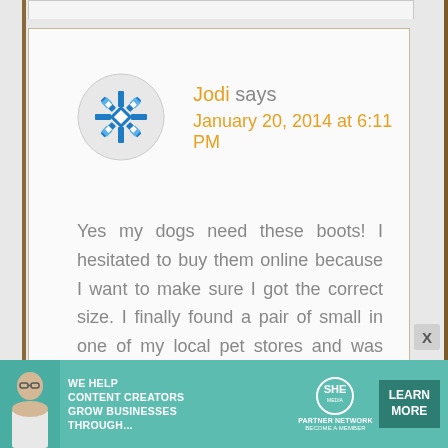[Figure (logo): Decorative geometric snowflake-style avatar icon in blue and white]
Jodi says
January 20, 2014 at 6:11 PM
Yes my dogs need these boots! I hesitated to buy them online because I want to make sure I got the correct size. I finally found a pair of small in one of my local pet stores and was delighted to discover they are made in the US!! That is a win-win for me, so please enter me in your contest!!
[Figure (infographic): SHE Media Partner Network advertisement banner: WE HELP CONTENT CREATORS GROW BUSINESSES THROUGH... with SHE logo and LEARN MORE button]